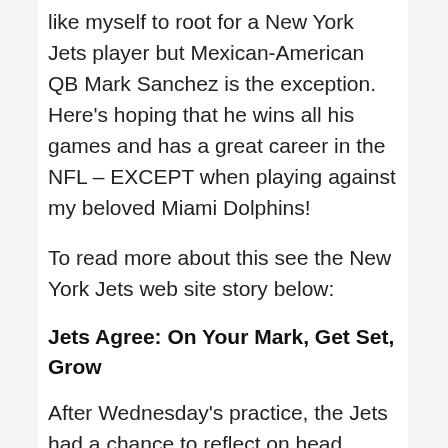like myself to root for a New York Jets player but Mexican-American QB Mark Sanchez is the exception.  Here's hoping that he wins all his games and has a great career in the NFL – EXCEPT when playing against my beloved Miami Dolphins!
To read more about this see the New York Jets web site story below:
Jets Agree: On Your Mark, Get Set, Grow
After Wednesday's practice, the Jets had a chance to reflect on head coach Rex Ryan's decision to name Mark Sanchez the starting quarterback.
The players made it clear that the gameplan